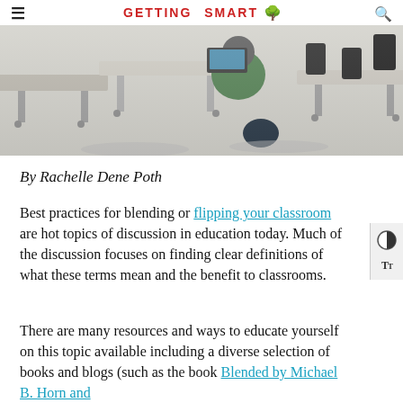GETTING SMART
[Figure (photo): Classroom photo showing modern desks with wheels and students working, viewed from the side]
By Rachelle Dene Poth
Best practices for blending or flipping your classroom are hot topics of discussion in education today. Much of the discussion focuses on finding clear definitions of what these terms mean and the benefit to classrooms.
There are many resources and ways to educate yourself on this topic available including a diverse selection of books and blogs (such as the book Blended by Michael B. Horn and